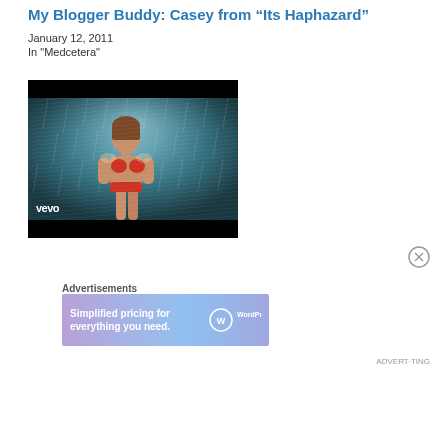My Blogger Buddy: Casey from “Its Haphazard”
January 12, 2011
In "Medcetera"
[Figure (screenshot): Vevo video screenshot showing a woman in a red bikini standing in rain with dramatic lighting. The vevo logo appears in the lower left. Black letterbox bars at top and bottom.]
Advertisements
[Figure (screenshot): WordPress.com advertisement banner reading 'Simplified pricing for everything you need.' with WordPress.com logo on purple/blue gradient background.]